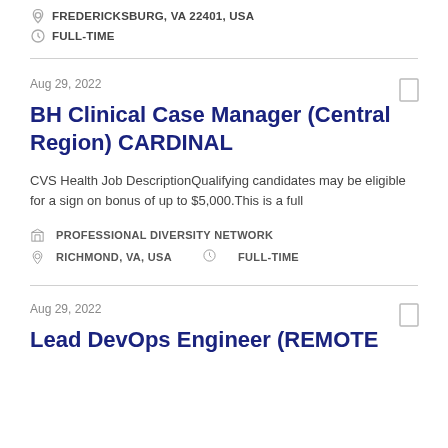FREDERICKSBURG, VA 22401, USA
FULL-TIME
Aug 29, 2022
BH Clinical Case Manager (Central Region) CARDINAL
CVS Health Job DescriptionQualifying candidates may be eligible for a sign on bonus of up to $5,000.This is a full
PROFESSIONAL DIVERSITY NETWORK
RICHMOND, VA, USA
FULL-TIME
Aug 29, 2022
Lead DevOps Engineer (REMOTE